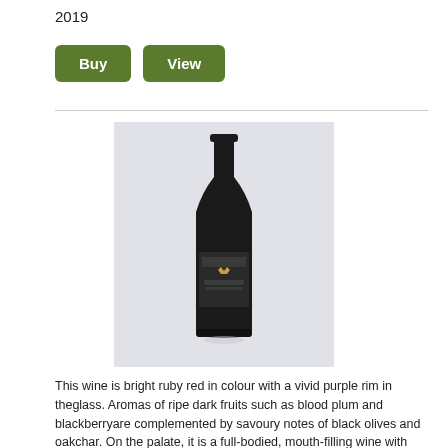2019
[Figure (other): Two green rounded-rectangle buttons labeled 'Buy' and 'View']
[Figure (photo): A dark wine bottle with a gold crown label on a light background]
This wine is bright ruby red in colour with a vivid purple rim in theglass. Aromas of ripe dark fruits such as blood plum and blackberryare complemented by savoury notes of black olives and oakchar. On the palate, it is a full-bodied, mouth-filling wine with finegrained tannins and concentrated dark fruits, and a hint of coffeeand mocha on the long finish